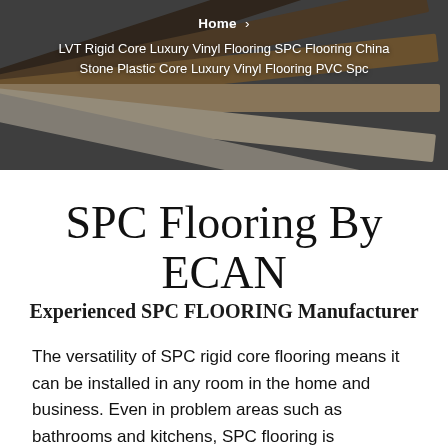[Figure (photo): Fan of vinyl/SPC flooring planks in various wood tones fanned out against a dark background]
Home › LVT Rigid Core Luxury Vinyl Flooring SPC Flooring China Stone Plastic Core Luxury Vinyl Flooring PVC Spc
SPC Flooring By ECAN
Experienced SPC FLOORING Manufacturer
The versatility of SPC rigid core flooring means it can be installed in any room in the home and business. Even in problem areas such as bathrooms and kitchens, SPC flooring is waterproof and therefore perfect for these installations. With the ultra stable core, it is also ideal for